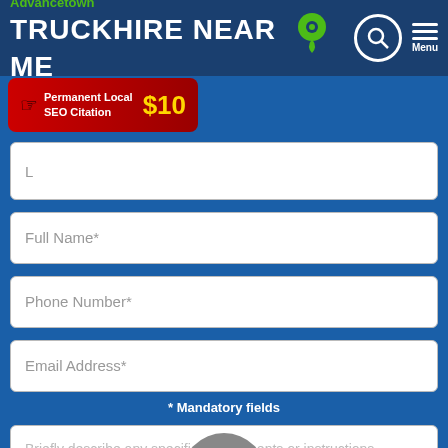Advancetown TRUCKHIRE NEAR ME
[Figure (screenshot): Red banner advertisement: Permanent Local SEO Citation $10]
Full Name*
Phone Number*
Email Address*
* Mandatory fields
Briefly describe any specific requirements or instructions